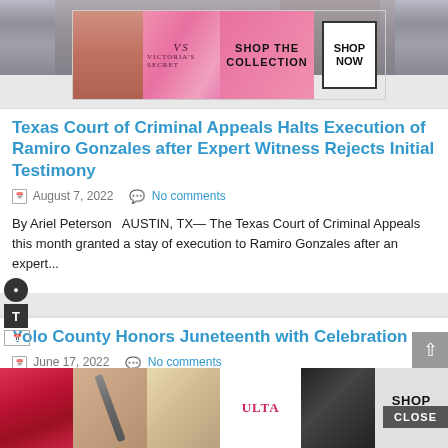[Figure (photo): Partial photo at top of page, person with tattooed arms, cropped]
[Figure (other): Victoria's Secret advertisement banner: pink background, model, VS logo, 'SHOP THE COLLECTION', 'SHOP NOW' button]
Texas Court of Criminal Appeals Halts Execution of Ramiro Gonzales after Expert Witness Rejects Initial Testimony
August 7, 2022   No comments
By Ariel Peterson   AUSTIN, TX— The Texas Court of Criminal Appeals this month granted a stay of execution to Ramiro Gonzales after an expert...
Yolo County Honors Juneteenth with Celebration
June 17, 2022   No comments
Student Opinion: Reviewing Emily He 'Bod…
[Figure (other): Ulta Beauty advertisement banner at bottom: images of lips, makeup brush, eyes, Ulta logo, 'SHOP NOW' button. CLOSE button overlay.]